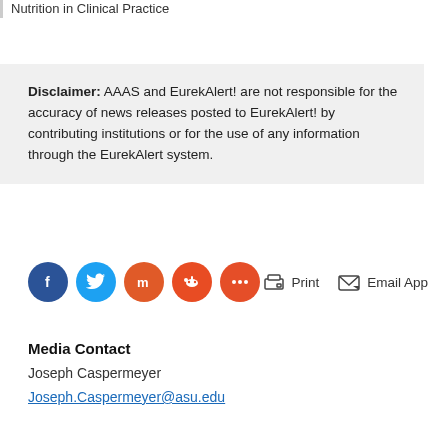Nutrition in Clinical Practice
Disclaimer: AAAS and EurekAlert! are not responsible for the accuracy of news releases posted to EurekAlert! by contributing institutions or for the use of any information through the EurekAlert system.
[Figure (infographic): Social sharing buttons: Facebook (blue), Twitter (light blue), Mix (orange), Reddit (red-orange), More (orange-red), and Print and Email App action links]
Media Contact
Joseph Caspermeyer
Joseph.Caspermeyer@asu.edu